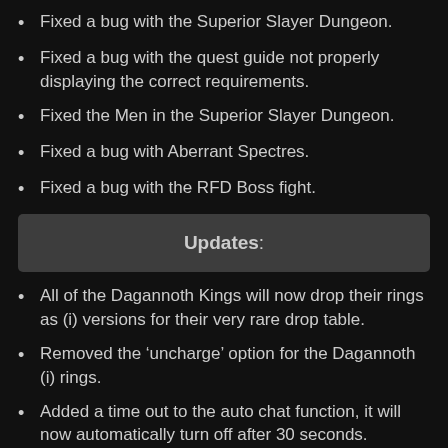Fixed a bug with the Superior Slayer Dungeon.
Fixed a bug with the quest guide not properly displaying the correct requirements.
Fixed the Men in the Superior Slayer Dungeon.
Fixed a bug with Aberrant Spectres.
Fixed a bug with the RFD Boss fight.
Updates:
All of the Dagannoth Kings will now drop their rings as (i) versions for their very rare drop table.
Removed the ‘uncharge’ option for the Dagannoth (i) rings.
Added a time out to the auto chat function, it will now automatically turn off after 30 seconds.